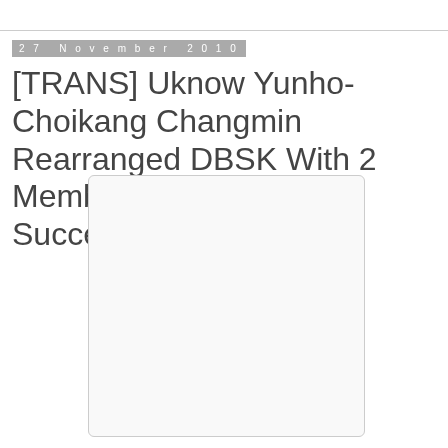27 November 2010
[TRANS] Uknow Yunho-Choikang Changmin Rearranged DBSK With 2 Members, Chances of Success?
[Figure (photo): White/blank image box with rounded corners and light gray border]